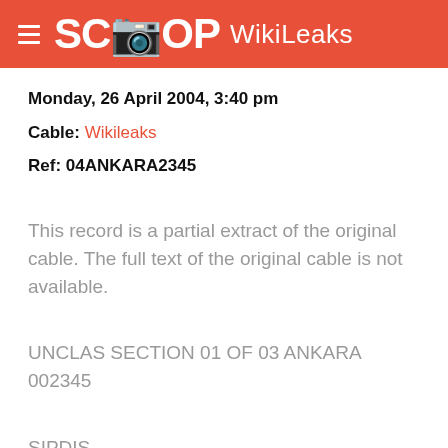SCOOP WikiLeaks
Monday, 26 April 2004, 3:40 pm
Cable: Wikileaks
Ref: 04ANKARA2345
This record is a partial extract of the original cable. The full text of the original cable is not available.
UNCLAS SECTION 01 OF 03 ANKARA 002345
SIPDIS
SENSITIVE